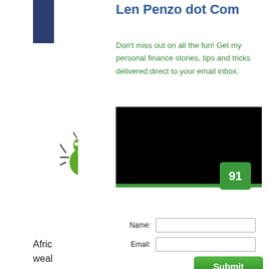Len Penzo dot Com
Don't miss out on all the fun! Get my personal finance stories, tips and tricks delivered direct to your email inbox.
[Figure (other): Black video/image placeholder rectangle with green bottom bar]
91
Name: [input] Email: [input] Submit
We respect your email privacy
Afric... weal... youn... work... Coro... succe... while... doesn't make sense.